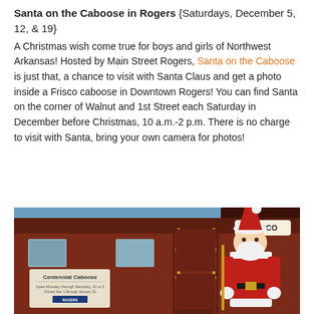Santa on the Caboose in Rogers {Saturdays, December 5, 12, & 19}
A Christmas wish come true for boys and girls of Northwest Arkansas! Hosted by Main Street Rogers, Santa on the Caboose is just that, a chance to visit with Santa Claus and get a photo inside a Frisco caboose in Downtown Rogers! You can find Santa on the corner of Walnut and 1st Street each Saturday in December before Christmas, 10 a.m.-2 p.m. There is no charge to visit with Santa, bring your own camera for photos!
[Figure (photo): Photo of Santa Claus standing on the steps of a red Frisco Centennial Caboose, holding the gold handrails. A sign reading 'Centennial Caboose' is visible on the left side of the caboose. The word 'FRISCO' appears on the upper right of the caboose.]